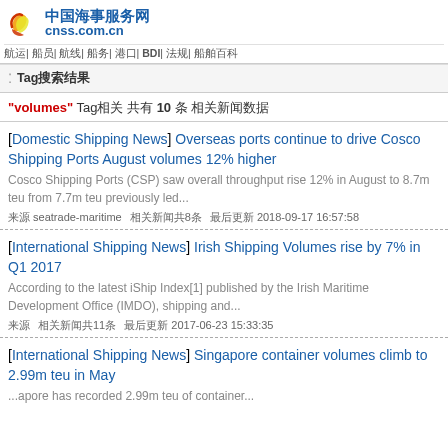中国海事服务网 cnss.com.cn — 航运| 船员| 航线| 船务| 港口| BDI| 法规| 船舶百科
Tag搜索结果
"volumes" Tag相关 共有 10 条 相关新闻数据
[Domestic Shipping News] Overseas ports continue to drive Cosco Shipping Ports August volumes 12% higher — Cosco Shipping Ports (CSP) saw overall throughput rise 12% in August to 8.7m teu from 7.7m teu previously led... — 来源 seatrade-maritime 相关新闻共8条 最后更新 2018-09-17 16:57:58
[International Shipping News] Irish Shipping Volumes rise by 7% in Q1 2017 — According to the latest iShip Index[1] published by the Irish Maritime Development Office (IMDO), shipping and... — 来源 相关新闻共11条 最后更新 2017-06-23 15:33:35
[International Shipping News] Singapore container volumes climb to 2.99m teu in May